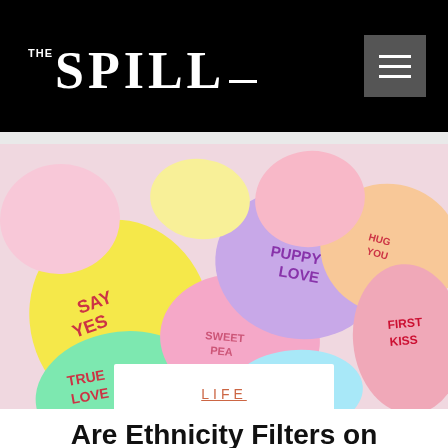THE SPILL
[Figure (photo): Colorful candy hearts (conversation hearts) with phrases like TRUE LOVE, SAY YES, PUPPY LOVE, FIRST KISS, ME YOU scattered and piled together]
LIFE
Are Ethnicity Filters on Dating Apps Problematic, or